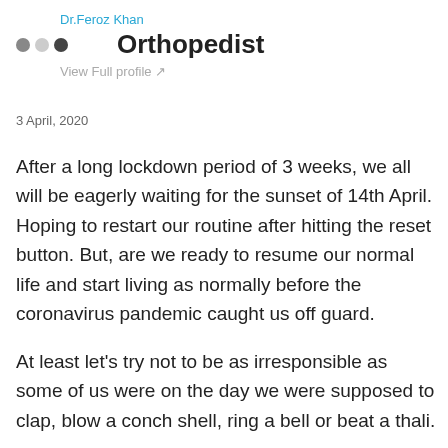Dr.Feroz Khan
Orthopedist
View Full profile ↗
3 April, 2020
After a long lockdown period of 3 weeks, we all will be eagerly waiting for the sunset of 14th April. Hoping to restart our routine after hitting the reset button. But, are we ready to resume our normal life and start living as normally before the coronavirus pandemic caught us off guard.
At least let's try not to be as irresponsible as some of us were on the day we were supposed to clap, blow a conch shell, ring a bell or beat a thali.